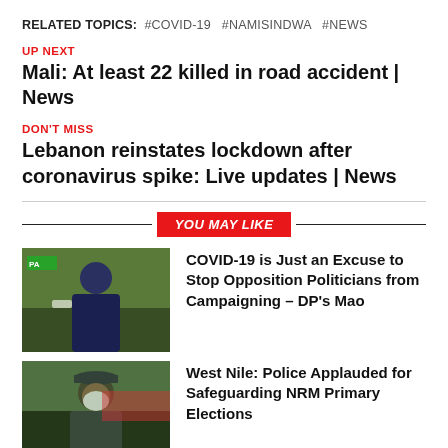RELATED TOPICS:  #COVID-19  #NAMISINDWA  #NEWS
UP NEXT
Mali: At least 22 killed in road accident | News
DON'T MISS
Lebanon reinstates lockdown after coronavirus spike: Live updates | News
YOU MAY LIKE
[Figure (photo): Man in blue suit at podium with green PA banner]
COVID-19 is Just an Excuse to Stop Opposition Politicians from Campaigning – DP's Mao
[Figure (photo): Police officer in uniform wearing white mask outdoors]
West Nile: Police Applauded for Safeguarding NRM Primary Elections